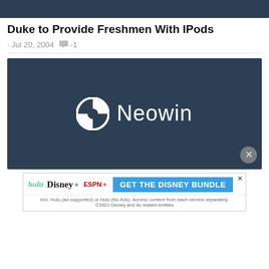[Figure (other): Dark blue top bar/banner strip at top of page]
Duke to Provide Freshmen With IPods
Jul 20, 2004  -1
[Figure (logo): Neowin logo on dark blue background with Neowin icon and text]
[Figure (other): Disney Bundle advertisement: hulu, Disney+, ESPN+ with GET THE DISNEY BUNDLE CTA button]